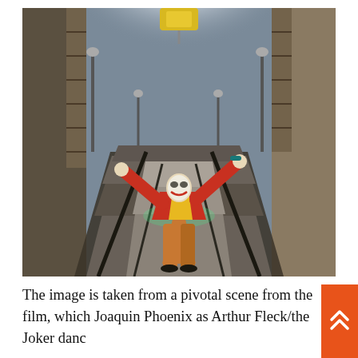[Figure (photo): A figure in a red suit, yellow vest, and green bow tie dances on outdoor stairs (the Joker Stairs in the Bronx, New York), arms outstretched, with urban brick buildings and fire escapes on either side, bright light at the top of the stairs.]
The image is taken from a pivotal scene from the film, which Joaquin Phoenix as Arthur Fleck/the Joker danc